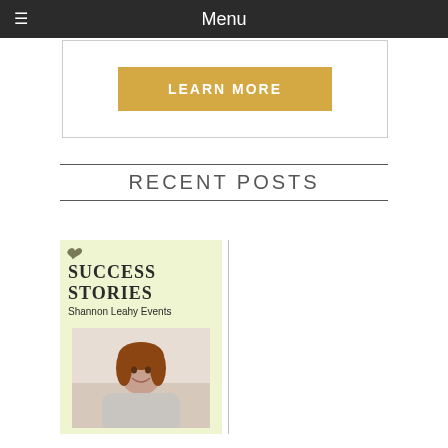Menu
LEARN MORE
RECENT POSTS
[Figure (illustration): Success Stories blog post thumbnail featuring decorative flourish, bold title 'SUCCESS STORIES', subtitle 'Shannon Leahy Events', and a photo of a young woman with red hair smiling, on a light green background.]